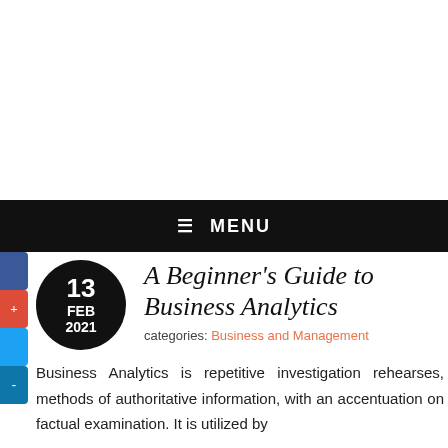≡ MENU
A Beginner's Guide to Business Analytics
categories: Business and Management
Business Analytics is repetitive investigation rehearses, methods of authoritative information, with an accentuation on factual examination. It is utilized by